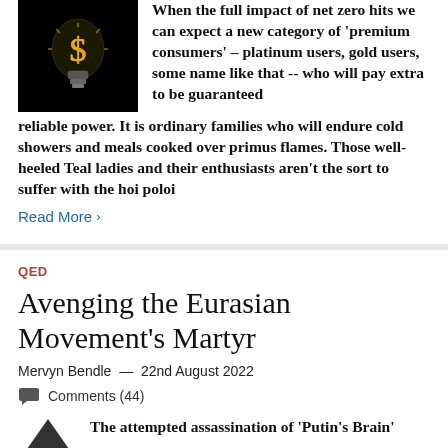[Figure (photo): A light bulb with a glowing dollar sign filament against a black background]
When the full impact of net zero hits we can expect a new category of 'premium consumers' – platinum users, gold users, some name like that -- who will pay extra to be guaranteed reliable power. It is ordinary families who will endure cold showers and meals cooked over primus flames. Those well-heeled Teal ladies and their enthusiasts aren't the sort to suffer with the hoi poloi
Read More >
QED
Avenging the Eurasian Movement's Martyr
Mervyn Bendle — 22nd August 2022
Comments (44)
The attempted assassination of 'Putin's Brain'